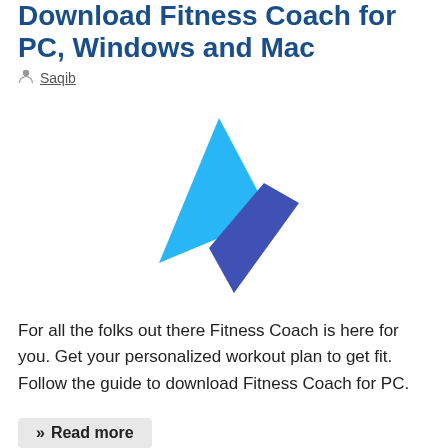Download Fitness Coach for PC, Windows and Mac
Saqib
[Figure (logo): Fitness Coach app logo: a light blue triangle pointing left and a dark blue/indigo arrow shape pointing down-right, forming a stylized lightning bolt or play-button icon.]
For all the folks out there Fitness Coach is here for you. Get your personalized workout plan to get fit. Follow the guide to download Fitness Coach for PC.
» Read more